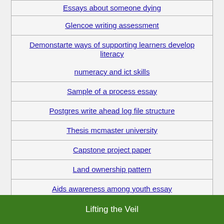Essays about someone dying
Glencoe writing assessment
Demonstarte ways of supporting learners develop literacy numeracy and ict skills
Sample of a process essay
Postgres write ahead log file structure
Thesis mcmaster university
Capstone project paper
Land ownership pattern
Aids awareness among youth essay
Lifting the Veil